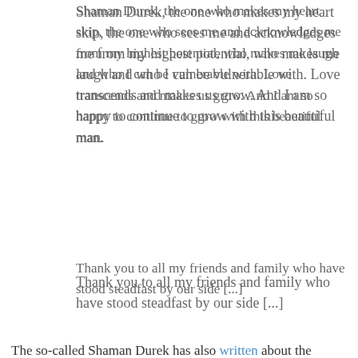Shaman Durek, the one who makes my heart skip, the one who sees me and acknowledges me from my highest potential, who makes me laugh and who I can be vulnerable with. Love transcends and makes us grow. And I am so happy to continue to grow with this beautiful man.
Thank you to all my friends and family who have stood steadfast by our side [...]
The so-called Shaman Durek has also written about the engagement on Instagram:
When you know you know. There is nothing better than having clarity as a man that the woman that stands in front of you is the one. I'm overjoyed with tears that I get to spend the rest of my life with the most pure hearted, angelic, wise, powerhouse woman who represents all levels of a goddess in my eyes. Together as a soulful spiritual couple, we will use our power to support the people to create a world based in